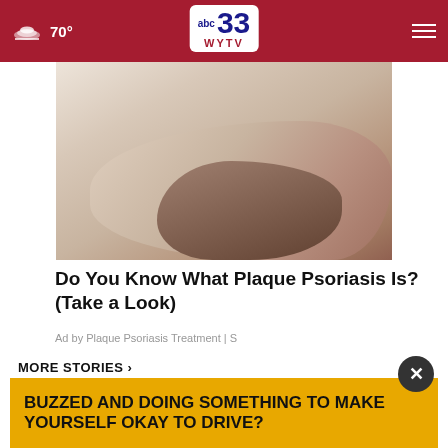70° abc 33 WYTV
[Figure (photo): Close-up photo of a human foot/heel on a wooden floor, showing skin texture suggesting psoriasis]
Do You Know What Plaque Psoriasis Is? (Take a Look)
Ad by Plaque Psoriasis Treatment | S
MORE STORIES ›
[Figure (photo): Thumbnail photo of Washington Commanders rookie RB Brian Robinson Jr. in uniform]
Washington Commanders rookie RB Brian Robinson Jr. …
[Figure (photo): Thumbnail photo related to American, 24, reportedly killed story]
American, 24, reportedly kille…
BUZZED AND DOING SOMETHING TO MAKE YOURSELF OKAY TO DRIVE?